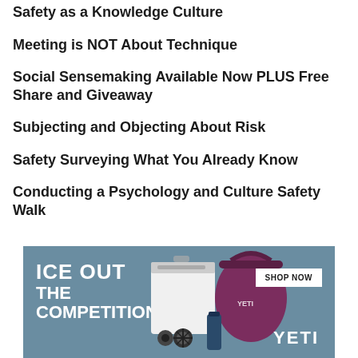Safety as a Knowledge Culture
Meeting is NOT About Technique
Social Sensemaking Available Now PLUS Free Share and Giveaway
Subjecting and Objecting About Risk
Safety Surveying What You Already Know
Conducting a Psychology and Culture Safety Walk
[Figure (infographic): YETI advertisement banner: 'ICE OUT THE COMPETITION' with a SHOP NOW button, showing YETI cooler and bag products on a teal/blue-grey background]